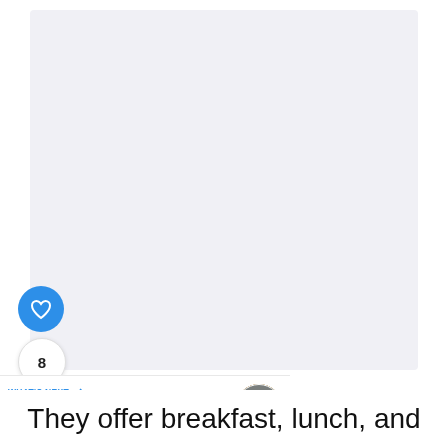[Figure (photo): Large light gray placeholder image area occupying most of the upper portion of the page]
[Figure (infographic): Blue circular like/heart button, count circle showing 8, and share button with plus icon, stacked vertically on the left side]
[Figure (infographic): What's Next navigation bar with blue label 'WHAT'S NEXT →', title '25 FUN Things to Do in...' and a circular thumbnail of a city landscape]
They offer breakfast, lunch, and